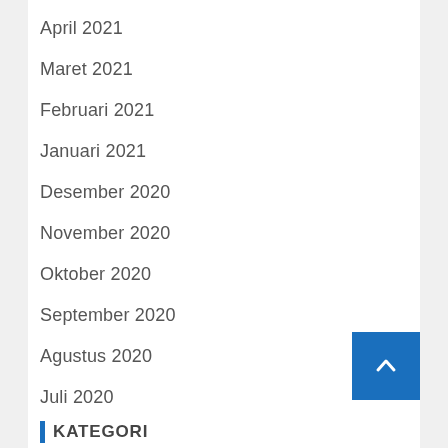April 2021
Maret 2021
Februari 2021
Januari 2021
Desember 2020
November 2020
Oktober 2020
September 2020
Agustus 2020
Juli 2020
Juni 2020
KATEGORI